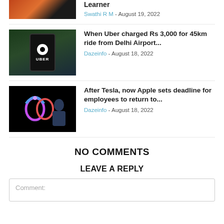[Figure (photo): Partial thumbnail of a person against an orange/fire background]
Learner
Swathi R M - August 19, 2022
[Figure (photo): Hand holding a phone showing the Uber app logo]
When Uber charged Rs 3,000 for 45km ride from Delhi Airport...
Dazeinfo - August 18, 2022
[Figure (photo): Apple event with colorful Apple logo and Tim Cook presenting on dark stage]
After Tesla, now Apple sets deadline for employees to return to...
Dazeinfo - August 18, 2022
NO COMMENTS
LEAVE A REPLY
Comment: